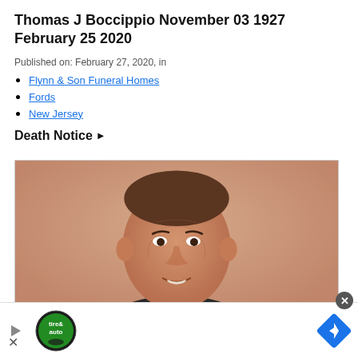Thomas J Boccippio November 03 1927 February 25 2020
Published on: February 27, 2020, in
Flynn & Son Funeral Homes
Fords
New Jersey
Death Notice ▶
[Figure (photo): Portrait photograph of Thomas J Boccippio, a middle-aged man in a dark suit, smiling slightly, vintage color photo]
[Figure (infographic): Advertisement bar at the bottom with a play button, a circular tire & auto logo, a close X button, and a blue diamond navigation icon]